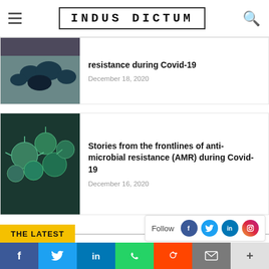INDUS DICTUM
resistance during Covid-19
December 18, 2020
Stories from the frontlines of anti-microbial resistance (AMR) during Covid-19
December 16, 2020
THE LATEST
[Figure (photo): Photo of person wearing face mask indoors]
Follow